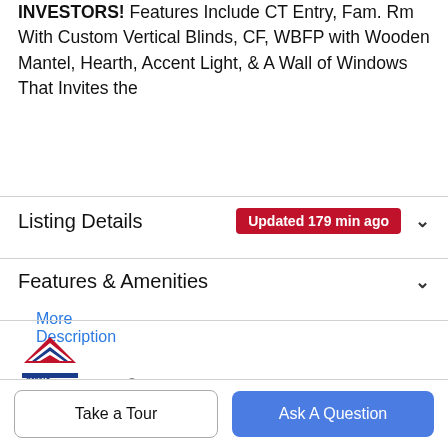INVESTORS! Features Include CT Entry, Fam. Rm With Custom Vertical Blinds, CF, WBFP with Wooden Mantel, Hearth, Accent Light, & A Wall of Windows That Invites the
More Description
Listing Details Updated 179 min ago
Features & Amenities
[Figure (logo): NTREIS logo - stylized house/triangle shape in red, white and blue with 'ntreis' text below]
Listing information © 2022 North Texas Real Estate Information System.
Schools
Take a Tour
Ask A Question